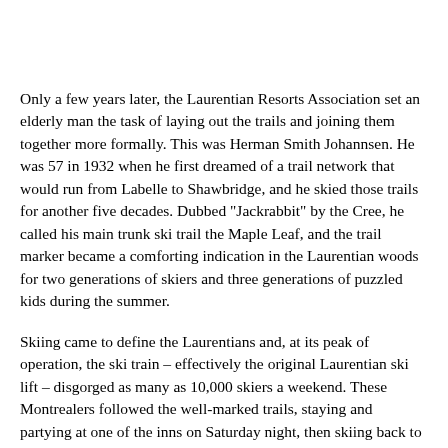Only a few years later, the Laurentian Resorts Association set an elderly man the task of laying out the trails and joining them together more formally. This was Herman Smith Johannsen. He was 57 in 1932 when he first dreamed of a trail network that would run from Labelle to Shawbridge, and he skied those trails for another five decades. Dubbed "Jackrabbit" by the Cree, he called his main trunk ski trail the Maple Leaf, and the trail marker became a comforting indication in the Laurentian woods for two generations of skiers and three generations of puzzled kids during the summer.
Skiing came to define the Laurentians and, at its peak of operation, the ski train – effectively the original Laurentian ski lift – disgorged as many as 10,000 skiers a weekend. These Montrealers followed the well-marked trails, staying and partying at one of the inns on Saturday night, then skiing back to a different railroad station on Sunday to return to the city.
According to his daughter Alice Johannsen, the name for the Maple Leaf Trail was first conceived in a conversation Herman had